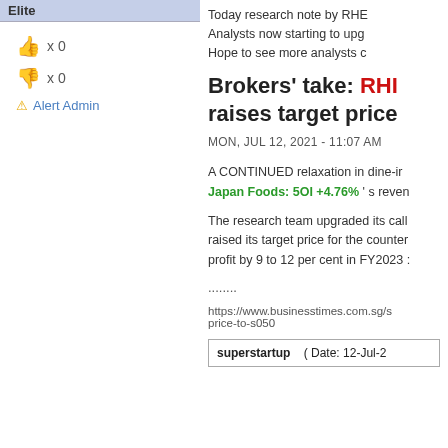Elite
[Figure (infographic): Thumbs up icon (green) x 0, thumbs down icon (red) x 0, Alert Admin link]
Today research note by RHB Analysts now starting to upg Hope to see more analysts c
Brokers' take: RHB raises target price
MON, JUL 12, 2021 - 11:07 AM
A CONTINUED relaxation in dine-in Japan Foods: 5OI +4.76% ' s reven
The research team upgraded its call raised its target price for the counter profit by 9 to 12 per cent in FY2023
........
https://www.businesstimes.com.sg/s price-to-s050
superstartup    ( Date: 12-Jul-2